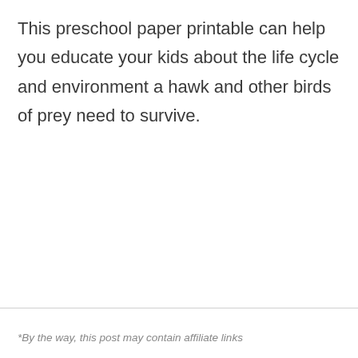This preschool paper printable can help you educate your kids about the life cycle and environment a hawk and other birds of prey need to survive.
*By the way, this post may contain affiliate links